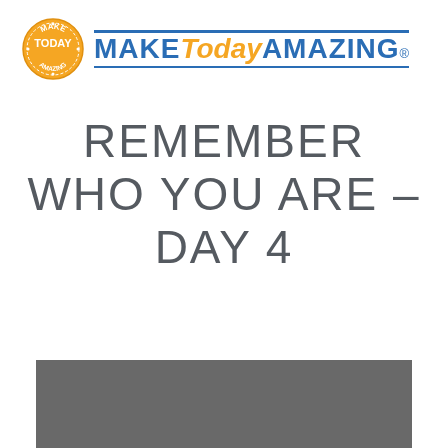[Figure (logo): Make Today Amazing logo with orange badge on left and blue/orange brand text on right with blue horizontal lines above and below]
REMEMBER WHO YOU ARE – DAY 4
[Figure (photo): Gray rectangle image at bottom of page]